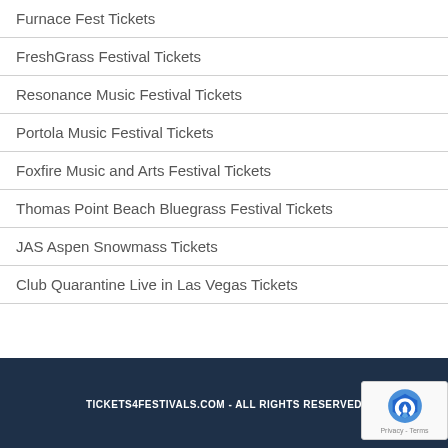Furnace Fest Tickets
FreshGrass Festival Tickets
Resonance Music Festival Tickets
Portola Music Festival Tickets
Foxfire Music and Arts Festival Tickets
Thomas Point Beach Bluegrass Festival Tickets
JAS Aspen Snowmass Tickets
Club Quarantine Live in Las Vegas Tickets
TICKETS4FESTIVALS.COM - ALL RIGHTS RESERVED